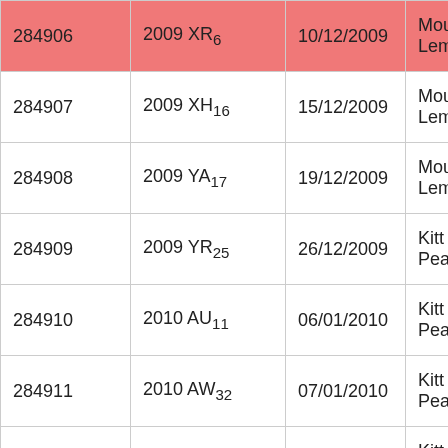| 284906 | 2009 XR6 | 10/12/2009 | Mount Lemmon |
| 284907 | 2009 XH16 | 15/12/2009 | Mount Lemmon |
| 284908 | 2009 YA17 | 19/12/2009 | Mount Lemmon |
| 284909 | 2009 YR25 | 26/12/2009 | Kitt Peak |
| 284910 | 2010 AU11 | 06/01/2010 | Kitt Peak |
| 284911 | 2010 AW32 | 07/01/2010 | Kitt Peak |
| 284912 | 2010 AS66 | 11/01/2010 | Kitt Peak |